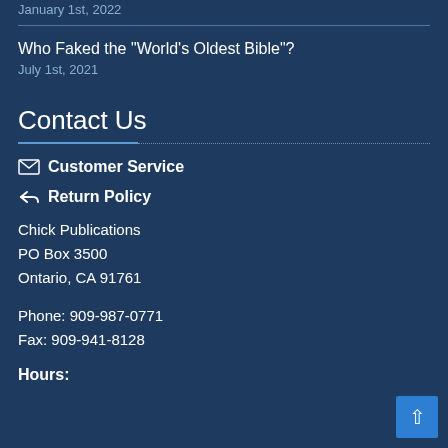January 1st, 2022
Who Faked the "World's Oldest Bible"?
July 1st, 2021
Contact Us
Customer Service
Return Policy
Chick Publications
PO Box 3500
Ontario, CA 91761
Phone: 909-987-0771
Fax: 909-941-8128
Hours: